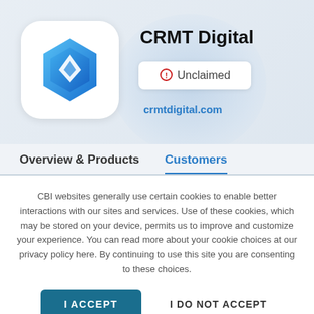[Figure (logo): CRMT Digital blue hexagonal logo with layered diamond/arrow shapes, on white rounded square background]
CRMT Digital
⊙ Unclaimed
crmtdigital.com
Overview & Products
Customers
CBI websites generally use certain cookies to enable better interactions with our sites and services. Use of these cookies, which may be stored on your device, permits us to improve and customize your experience. You can read more about your cookie choices at our privacy policy here. By continuing to use this site you are consenting to these choices.
I ACCEPT
I DO NOT ACCEPT